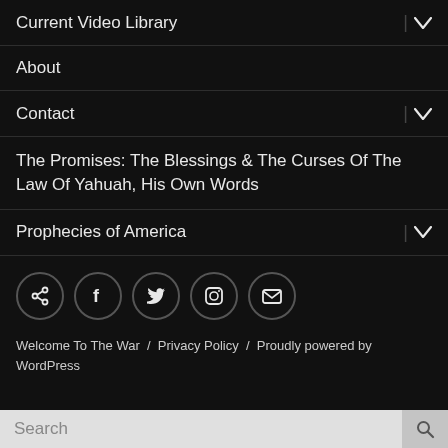Current Video Library
About
Contact
The Promises: The Blessings & The Curses Of The Law Of Yahuah, His Own Words
Prophecies of America
[Figure (infographic): Row of 5 social media icon buttons in circles: share/link icon, Facebook, Twitter, Instagram, email/envelope]
Welcome To The War / Privacy Policy / Proudly powered by WordPress
Search